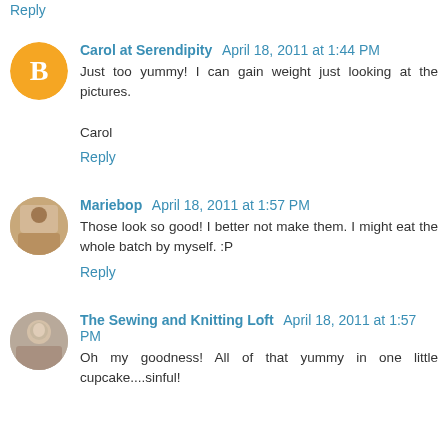Reply (partial, top of page)
Carol at Serendipity  April 18, 2011 at 1:44 PM
Just too yummy! I can gain weight just looking at the pictures.

Carol

Reply
Mariebop  April 18, 2011 at 1:57 PM
Those look so good! I better not make them. I might eat the whole batch by myself. :P

Reply
The Sewing and Knitting Loft  April 18, 2011 at 1:57 PM
Oh my goodness! All of that yummy in one little cupcake....sinful!